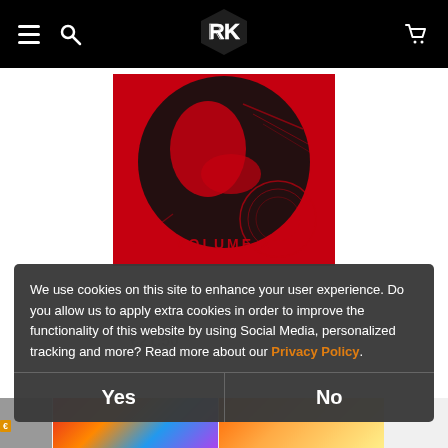Navigation bar with hamburger menu, search icon, logo, and cart icon
[Figure (photo): Album cover art — red and black graphic with a face profile and circular design, text 'VOLUME 2' visible at bottom]
We use cookies on this site to enhance your user experience. Do you allow us to apply extra cookies in order to improve the functionality of this website by using Social Media, personalized tracking and more? Read more about our Privacy Policy.
Yes
No